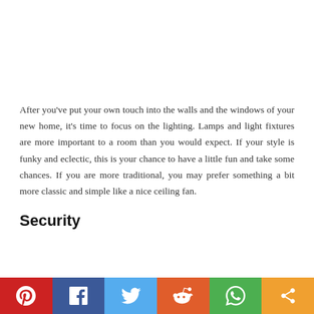After you've put your own touch into the walls and the windows of your new home, it's time to focus on the lighting. Lamps and light fixtures are more important to a room than you would expect. If your style is funky and eclectic, this is your chance to have a little fun and take some chances. If you are more traditional, you may prefer something a bit more classic and simple like a nice ceiling fan.
Security
[Figure (other): Social sharing bar with Pinterest, Facebook, Twitter, Reddit, WhatsApp, and share icons]